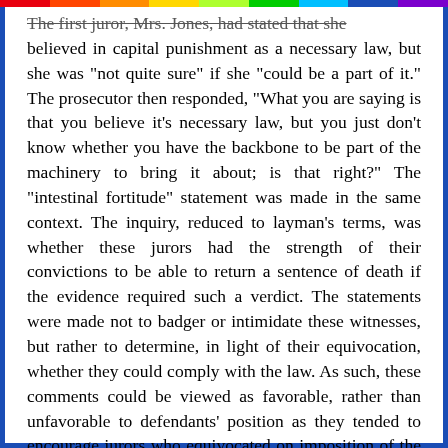The first juror, Mrs. Jones, had stated that she believed in capital punishment as a necessary law, but she was "not quite sure" if she "could be a part of it." The prosecutor then responded, "What you are saying is that you believe it's necessary law, but you just don't know whether you have the backbone to be part of the machinery to bring it about; is that right?" The "intestinal fortitude" statement was made in the same context. The inquiry, reduced to layman's terms, was whether these jurors had the strength of their convictions to be able to return a sentence of death if the evidence required such a verdict. The statements were made not to badger or intimidate these witnesses, but rather to determine, in light of their equivocation, whether they could comply with the law. As such, these comments could be viewed as favorable, rather than unfavorable to defendants' position as they tended to encourage jurors who equivocated on imposition of the death penalty to serve. Defendants fail to show